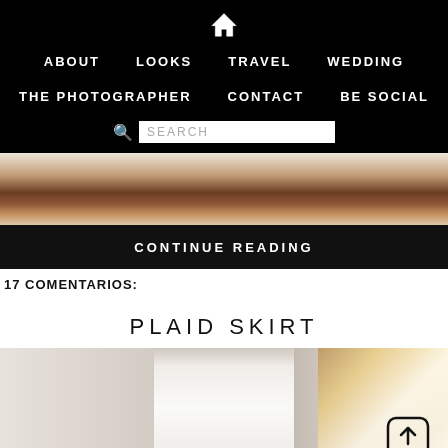HOME | ABOUT | LOOKS | TRAVEL | WEDDING | THE PHOTOGRAPHER | CONTACT | BE SOCIAL | SEARCH
[Figure (photo): Top portion of a person with dark curly hair, seen from above against a light beige background]
CONTINUE READING
17 COMENTARIOS:
PLAID SKIRT
[Figure (photo): Fashion photo of a woman with long brown hair wearing a white top, with a bright blurred background on the right side. Share/upload icon visible in bottom right.]